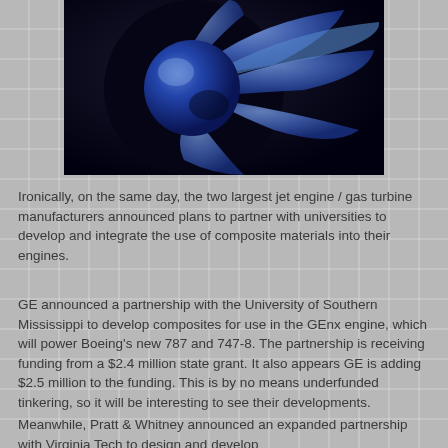[Figure (photo): Close-up photo of a jet engine turbine fan with blue-tinted blades against a dark background]
Ironically, on the same day, the two largest jet engine / gas turbine manufacturers announced plans to partner with universities to develop and integrate the use of composite materials into their engines.
GE announced a partnership with the University of Southern Mississippi to develop composites for use in the GEnx engine, which will power Boeing's new 787 and 747-8. The partnership is receiving funding from a $2.4 million state grant. It also appears GE is adding $2.5 million to the funding. This is by no means underfunded tinkering, so it will be interesting to see their developments.
Meanwhile, Pratt & Whitney announced an expanded partnership with Virginia Tech to design and develop